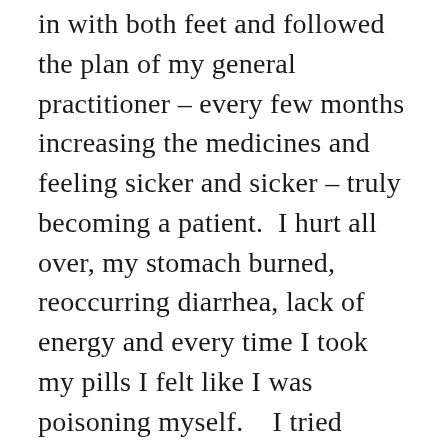in with both feet and followed the plan of my general practitioner – every few months increasing the medicines and feeling sicker and sicker – truly becoming a patient.  I hurt all over, my stomach burned, reoccurring diarrhea, lack of energy and every time I took my pills I felt like I was poisoning myself.   I tried smudging my pill bottles and blessing them.....nothing really worked.